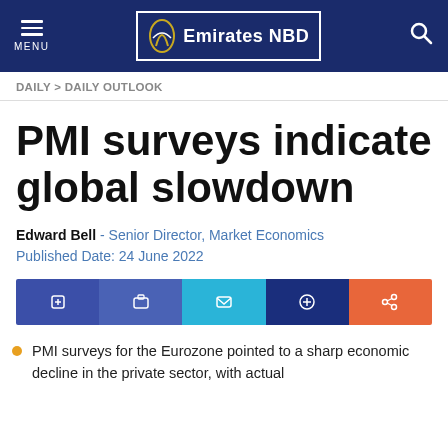Emirates NBD — MENU / Search
DAILY > DAILY OUTLOOK
PMI surveys indicate global slowdown
Edward Bell - Senior Director, Market Economics
Published Date: 24 June 2022
[Figure (other): Social media sharing buttons bar: five colored buttons (Facebook, LinkedIn, Twitter, other, email/share)]
PMI surveys for the Eurozone pointed to a sharp economic decline in the private sector, with actual